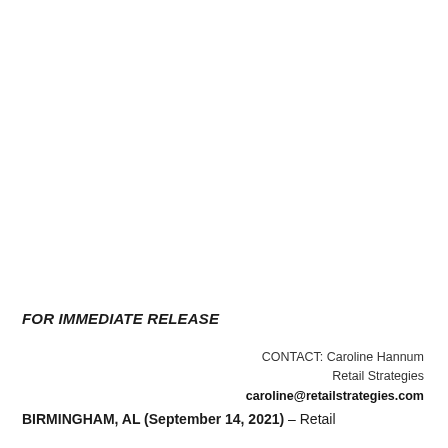FOR IMMEDIATE RELEASE
CONTACT: Caroline Hannum
Retail Strategies
caroline@retailstrategies.com
BIRMINGHAM, AL (September 14, 2021) – Retail